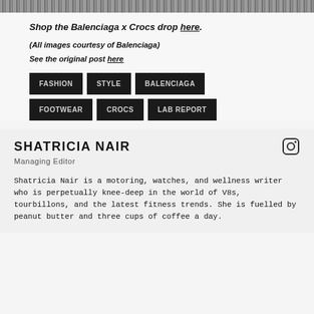Shop the Balenciaga x Crocs drop here.
(All images courtesy of Balenciaga)
See the original post here
FASHION
STYLE
BALENCIAGA
FOOTWEAR
CROCS
LAB REPORT
SHATRICIA NAIR
Managing Editor
Shatricia Nair is a motoring, watches, and wellness writer who is perpetually knee-deep in the world of V8s, tourbillons, and the latest fitness trends. She is fuelled by peanut butter and three cups of coffee a day.